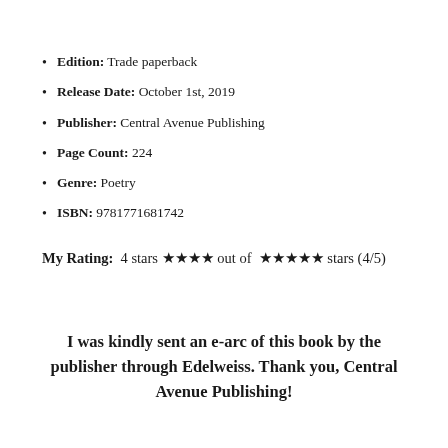Edition: Trade paperback
Release Date: October 1st, 2019
Publisher: Central Avenue Publishing
Page Count: 224
Genre: Poetry
ISBN: 9781771681742
My Rating:  4 stars ★★★★ out of  ★★★★★ stars (4/5)
I was kindly sent an e-arc of this book by the publisher through Edelweiss. Thank you, Central Avenue Publishing!